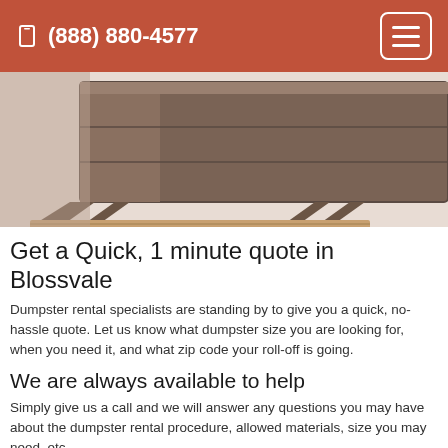(888) 880-4577
[Figure (photo): A large roll-off dumpster container photographed close up, showing dark brown/grey metal construction with support legs visible at the bottom.]
Get a Quick, 1 minute quote in Blossvale
Dumpster rental specialists are standing by to give you a quick, no-hassle quote. Let us know what dumpster size you are looking for, when you need it, and what zip code your roll-off is going.
We are always available to help
Simply give us a call and we will answer any questions you may have about the dumpster rental procedure, allowed materials, size you may need, etc.
Next-Day delivery of your dumpster